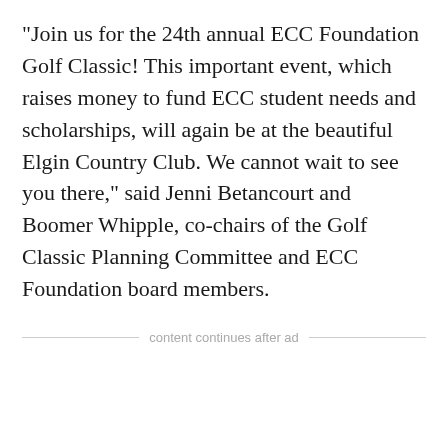"Join us for the 24th annual ECC Foundation Golf Classic! This important event, which raises money to fund ECC student needs and scholarships, will again be at the beautiful Elgin Country Club. We cannot wait to see you there," said Jenni Betancourt and Boomer Whipple, co-chairs of the Golf Classic Planning Committee and ECC Foundation board members.
content continues after ad